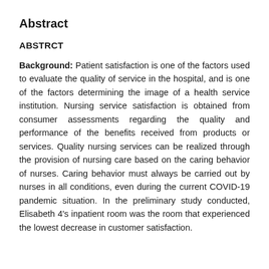Abstract
ABSTRCT
Background: Patient satisfaction is one of the factors used to evaluate the quality of service in the hospital, and is one of the factors determining the image of a health service institution. Nursing service satisfaction is obtained from consumer assessments regarding the quality and performance of the benefits received from products or services. Quality nursing services can be realized through the provision of nursing care based on the caring behavior of nurses. Caring behavior must always be carried out by nurses in all conditions, even during the current COVID-19 pandemic situation. In the preliminary study conducted, Elisabeth 4's inpatient room was the room that experienced the lowest decrease in customer satisfaction.